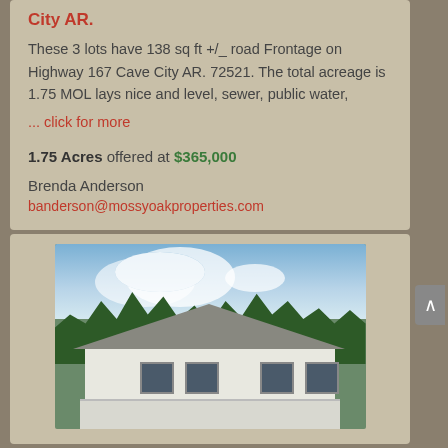City AR.
These 3 lots have 138 sq ft +/_ road Frontage on Highway 167 Cave City AR. 72521. The total acreage is 1.75 MOL lays nice and level, sewer, public water,
... click for more
1.75 Acres offered at $365,000
Brenda Anderson
banderson@mossyoakproperties.com
[Figure (photo): Exterior photo of a white ranch-style house with a covered front porch, surrounded by large green trees with a partly cloudy sky in the background.]